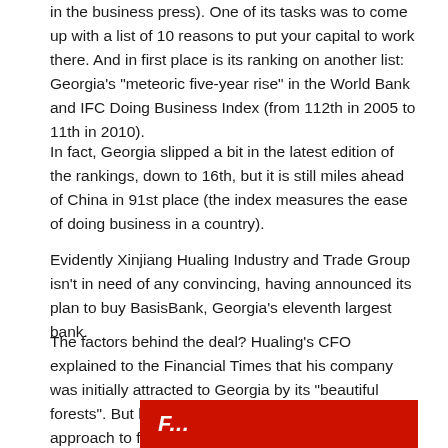in the business press). One of its tasks was to come up with a list of 10 reasons to put your capital to work there. And in first place is its ranking on another list: Georgia's "meteoric five-year rise" in the World Bank and IFC Doing Business Index (from 112th in 2005 to 11th in 2010).
In fact, Georgia slipped a bit in the latest edition of the rankings, down to 16th, but it is still miles ahead of China in 91st place (the index measures the ease of doing business in a country).
Evidently Xinjiang Hualing Industry and Trade Group isn't in need of any convincing, having announced its plan to buy BasisBank, Georgia's eleventh largest bank.
The factors behind the deal? Hualing's CFO explained to the Financial Times that his company was initially attracted to Georgia by its "beautiful forests". But he also complimented Georgia's open approach to foreign investment, with on-arrival visas for Chinese visitors given as an example.
[Figure (other): Red banner with italic text beginning 'F...' partially visible at bottom of page]